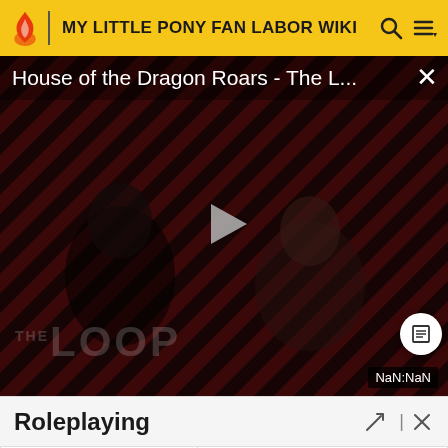MY LITTLE PONY FAN LABOR WIKI
[Figure (screenshot): Video player showing 'House of the Dragon Roars - The L...' with a play button, diagonal red/dark stripe background, 'THE LOOP' watermark, and NaN:NaN timestamp badge. Two partially visible people in the background.]
Roleplaying
| Whitetail-Woods.com Art & Roleplay Community | Still small, but run by people with plenty of experience running an RP community. |